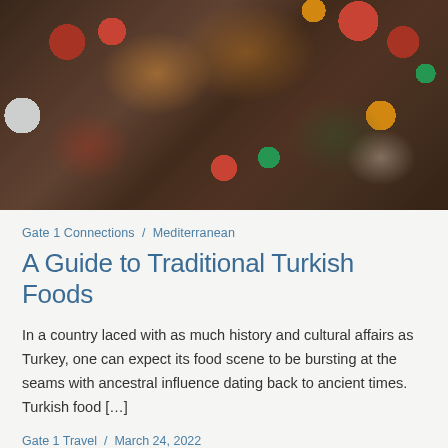[Figure (photo): Overhead/top-down view of a large Turkish feast spread on a wooden table, with multiple hands reaching in to eat. Various colorful dishes, fruits, vegetables, meats, and bowls of food visible.]
Gate 1 Connections / Mediterranean
A Guide to Traditional Turkish Foods
In a country laced with as much history and cultural affairs as Turkey, one can expect its food scene to be bursting at the seams with ancestral influence dating back to ancient times. Turkish food […]
Gate 1 Travel / March 24, 2022